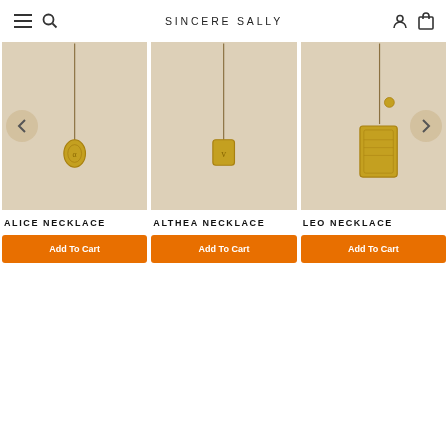SINCERE SALLY
[Figure (photo): Gold oval pendant necklace on beige background — Alice Necklace]
[Figure (photo): Gold rectangular tag pendant necklace on beige background — Althea Necklace]
[Figure (photo): Gold rectangular engraved pendant necklace on beige background — Leo Necklace]
ALICE NECKLACE
ALTHEA NECKLACE
LEO NECKLACE
Add To Cart
Add To Cart
Add To Cart